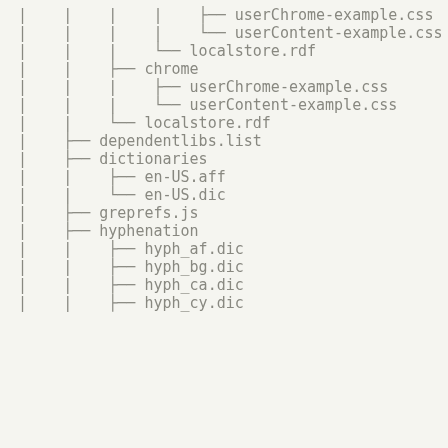| | | | ├── userChrome-example.css
| | | | └── userContent-example.css
| | | └── localstore.rdf
| | ├── chrome
| | | ├── userChrome-example.css
| | | └── userContent-example.css
| | └── localstore.rdf
| ├── dependentlibs.list
| ├── dictionaries
| | ├── en-US.aff
| | └── en-US.dic
| ├── greprefs.js
| ├── hyphenation
| | ├── hyph_af.dic
| | ├── hyph_bg.dic
| | ├── hyph_ca.dic
| | ├── hyph_cy.dic